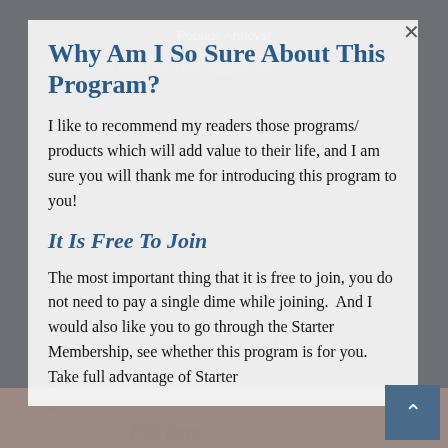Popups Annoys!
Why Am I So Sure About This Program?
I like to recommend my readers those programs/ products which will add value to their life, and I am sure you will thank me for introducing this program to you!
It Is Free To Join
The most important thing that it is free to join, you do not need to pay a single dime while joining.  And I would also like you to go through the Starter Membership, see whether this program is for you. Take full advantage of Starter